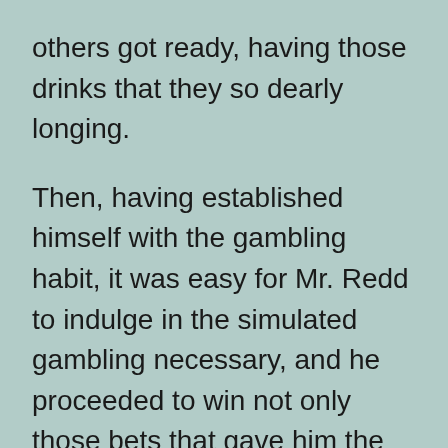others got ready, having those drinks that they so dearly longing.
Then, having established himself with the gambling habit, it was easy for Mr. Redd to indulge in the simulated gambling necessary, and he proceeded to win not only those bets that gave him the revenue, but those bets too that gave the saloon patrons the revenue.
simulated gambling means that you can play at many different websites at the same time. Each time you step onto the Internet, you are playing from the online casino of your choice.